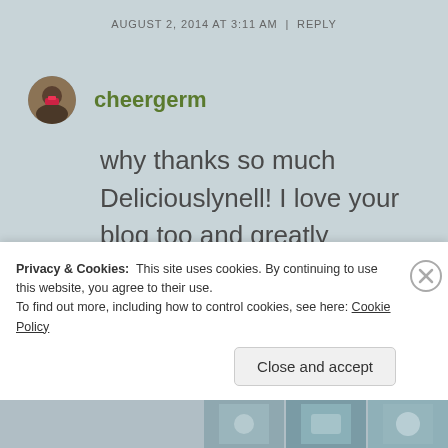AUGUST 2, 2014 AT 3:11 AM | REPLY
cheergerm
why thanks so much Deliciouslynell! I love your blog too and greatly appreciate you sending some
Privacy & Cookies:  This site uses cookies. By continuing to use this website, you agree to their use.
To find out more, including how to control cookies, see here: Cookie Policy
Close and accept